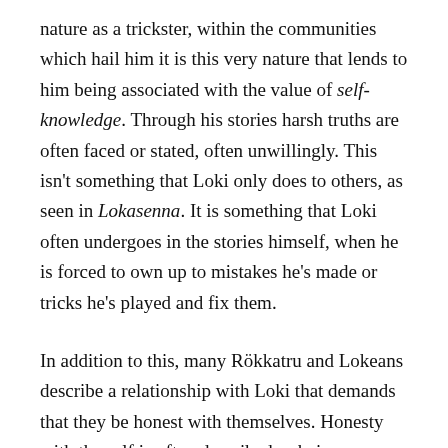nature as a trickster, within the communities which hail him it is this very nature that lends to him being associated with the value of self-knowledge. Through his stories harsh truths are often faced or stated, often unwillingly. This isn't something that Loki only does to others, as seen in Lokasenna. It is something that Loki often undergoes in the stories himself, when he is forced to own up to mistakes he's made or tricks he's played and fix them.
In addition to this, many Rökkatru and Lokeans describe a relationship with Loki that demands that they be honest with themselves. Honesty with the self is often described as being a precursor to being able to speak hard truths to others. For this reason, a lot of people will describe this value not as self-knowledge